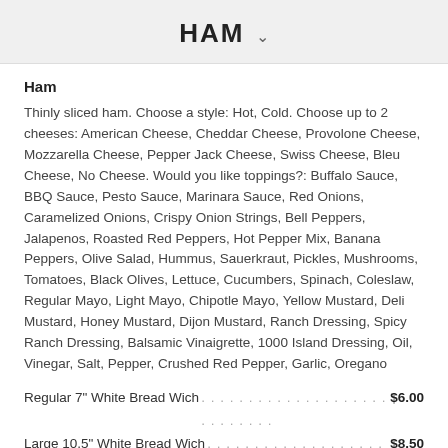HAM
Ham
Thinly sliced ham. Choose a style: Hot, Cold. Choose up to 2 cheeses: American Cheese, Cheddar Cheese, Provolone Cheese, Mozzarella Cheese, Pepper Jack Cheese, Swiss Cheese, Bleu Cheese, No Cheese. Would you like toppings?: Buffalo Sauce, BBQ Sauce, Pesto Sauce, Marinara Sauce, Red Onions, Caramelized Onions, Crispy Onion Strings, Bell Peppers, Jalapenos, Roasted Red Peppers, Hot Pepper Mix, Banana Peppers, Olive Salad, Hummus, Sauerkraut, Pickles, Mushrooms, Tomatoes, Black Olives, Lettuce, Cucumbers, Spinach, Coleslaw, Regular Mayo, Light Mayo, Chipotle Mayo, Yellow Mustard, Deli Mustard, Honey Mustard, Dijon Mustard, Ranch Dressing, Spicy Ranch Dressing, Balsamic Vinaigrette, 1000 Island Dressing, Oil, Vinegar, Salt, Pepper, Crushed Red Pepper, Garlic, Oregano
Regular 7" White Bread Wich . . . . . . . . . . . . . . . . . . . . . . . . . . . . $6.00
Large 10.5" White Bread Wich . . . . . . . . . . . . . . . . . . . . . . . . . . . $8.50
Super 14" White Bread Wich . . . . . . . . . . . . . . . . . . . . . . . . . . . $11.50